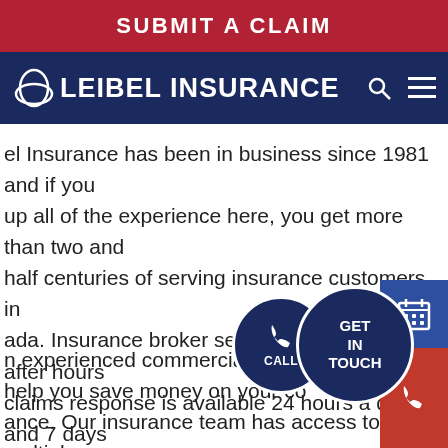SUBMIT A CLAIM
[Figure (logo): Leibel Insurance logo with arc graphic on dark navy background, with search and menu icons]
el Insurance has been in business since 1981 and if you up all of the experience here, you get more than two and half centuries of serving insurance customers in ada. Insurance broker services are available after hours claims response is available 24 hours a day and 7 days ek.
n experienced commercial insura rok help you save money on your commercial p ance. Our insurance team has access to multiple
[Figure (illustration): Call circle button and Get In Touch circle badge overlaid on content, with calendar and phone floating buttons on the right]